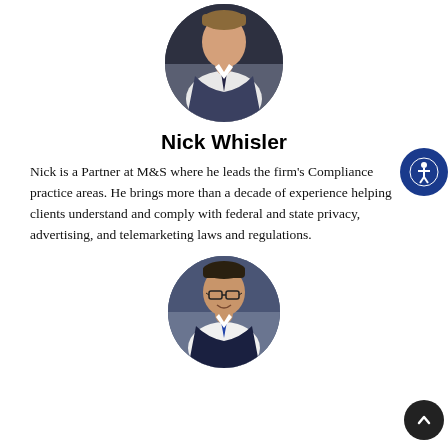[Figure (photo): Circular headshot photo of Nick Whisler, a man in a suit with a tie, professional portrait]
Nick Whisler
Nick is a Partner at M&S where he leads the firm's Compliance practice areas. He brings more than a decade of experience helping clients understand and comply with federal and state privacy, advertising, and telemarketing laws and regulations.
[Figure (photo): Circular headshot photo of a second person, a man wearing glasses and a suit, smiling, professional portrait]